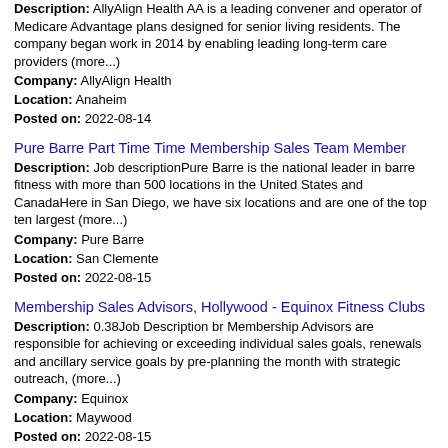Description: AllyAlign Health AA is a leading convener and operator of Medicare Advantage plans designed for senior living residents. The company began work in 2014 by enabling leading long-term care providers (more...)
Company: AllyAlign Health
Location: Anaheim
Posted on: 2022-08-14
Pure Barre Part Time Time Membership Sales Team Member
Description: Job descriptionPure Barre is the national leader in barre fitness with more than 500 locations in the United States and CanadaHere in San Diego, we have six locations and are one of the top ten largest (more...)
Company: Pure Barre
Location: San Clemente
Posted on: 2022-08-15
Membership Sales Advisors, Hollywood - Equinox Fitness Clubs
Description: 0.38Job Description br Membership Advisors are responsible for achieving or exceeding individual sales goals, renewals and ancillary service goals by pre-planning the month with strategic outreach, (more...)
Company: Equinox
Location: Maywood
Posted on: 2022-08-15